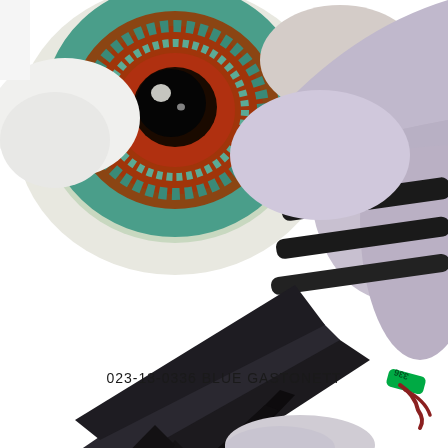[Figure (photo): Close-up photograph of a racing pigeon (columba livia) showing a large round eye with green-teal iris and red-brown patterns, the bird's beak/bill pointing left, dark grey-black wing feathers, lavender/white body feathers with black wing bars, and a green leg band numbered 336 visible on the right side. White background. Partial second bird visible at bottom.]
023-13-0336 BLUE GASTONETT